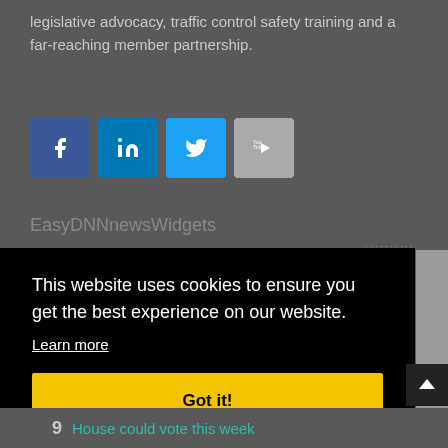legislative advocacy, traffic control safety training and a far-reaching member partnership.
[Figure (screenshot): Social media share buttons: Facebook (dark blue), LinkedIn (blue), Twitter (light blue), YouTube (grey)]
EasyDNNnewsWidgets
This website uses cookies to ensure you get the best experience on our website. Learn more
Got it!
9 House could vote this week